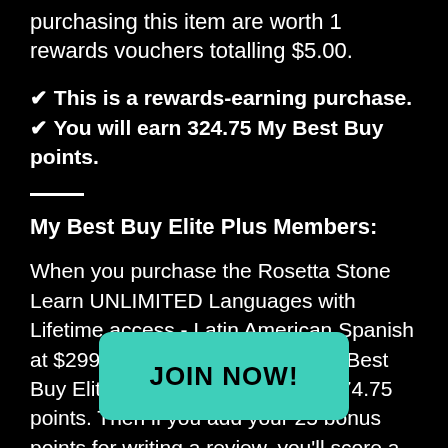purchasing this item are worth 1 rewards vouchers totalling $5.00.
✔ This is a rewards-earning purchase.
✔ You will earn 324.75 My Best Buy points.
My Best Buy Elite Plus Members:
When you purchase the Rosetta Stone Learn UNLIMITED Languages with Lifetime access - Latin American Spanish at $299.99 after achieving the My Best Buy Elite Plus status you'll earn 374.75 points. Then if you add your 25 bonus points for writing a review, you'll score a total of 399.75 points and $8.00 in rewards.
Because [JOIN NOW! button overlay] you'll earn 399.75 My [Best Buy points, which] will surpass the [threshold for My Best] Buy [and] issue a $5 reward for every 250 points.